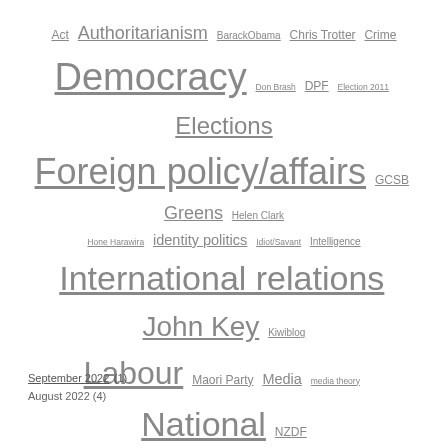[Figure (infographic): Tag cloud with various political and media topics in different font sizes indicating frequency/importance. Tags include: Act, Authoritarianism, BarackObama, Chris Trotter, Crime, Democracy, Don Brash, DPF, Election 2011, Elections, Foreign policy/affairs, GCSB, Greens, Helen Clark, Hone Harawira, identity politics, Idiot/Savant, Intelligence, International relations, John Key, Kiwiblog, Labour, Maori Party, Media, media theory, National, NZDF, NZ Herald, open government, Participation, Phil Goff, photography, Police, Propaganda, racism, Radio NZ National, Referenda, Representation, Security, symbolic politics, Terrorism, The Standard, Tino Rangatiratanga, Trump, USA]
September 2022 (1)
August 2022 (4)